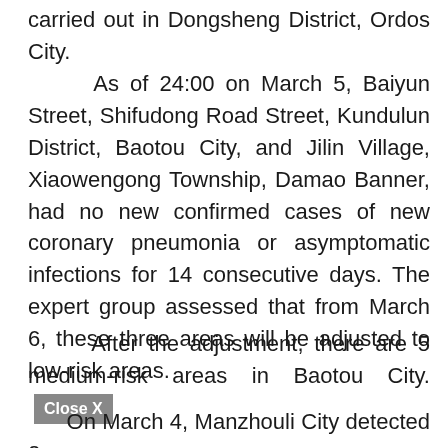carried out in Dongsheng District, Ordos City.
As of 24:00 on March 5, Baiyun Street, Shifudong Road Street, Kundulun District, Baotou City, and Jilin Village, Xiaowengong Township, Damao Banner, had no new confirmed cases of new coronary pneumonia or asymptomatic infections for 14 consecutive days. The expert group assessed that from March 6, these three areas will be adjusted to low-risk areas.
After the adjustment, there are 5 medium-risk areas in Baotou City. [Close X]
On March 4, Manzhouli City detected 2